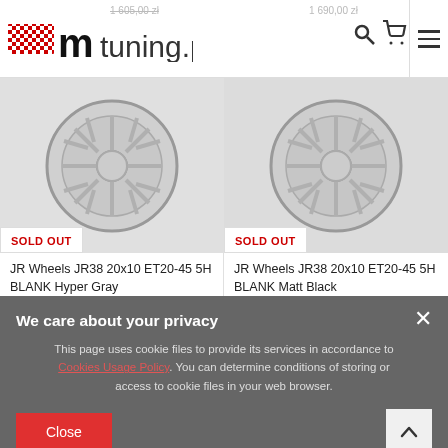mtuning.pl — 1 605,00 zł | 1 690,00 zł
[Figure (photo): JR Wheels JR38 silver multi-spoke alloy wheel, left product — SOLD OUT]
[Figure (photo): JR Wheels JR38 silver multi-spoke alloy wheel, right product — SOLD OUT]
JR Wheels JR38 20x10 ET20-45 5H BLANK Hyper Gray
JR Wheels JR38 20x10 ET20-45 5H BLANK Matt Black
● 1 605,00 zł
● 1 605,00 zł
We care about your privacy
This page uses cookie files to provide its services in accordance to Cookies Usage Policy. You can determine conditions of storing or access to cookie files in your web browser.
Close